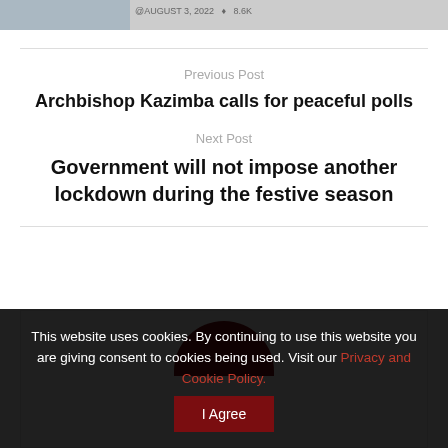[Figure (screenshot): Partial top image strip showing a photo thumbnail on the left and some metadata text]
Previous Post
Archbishop Kazimba calls for peaceful polls
Next Post
Government will not impose another lockdown during the festive season
[Figure (photo): Partial profile image with dark red semicircle at top, inside a bordered box]
This website uses cookies. By continuing to use this website you are giving consent to cookies being used. Visit our Privacy and Cookie Policy.